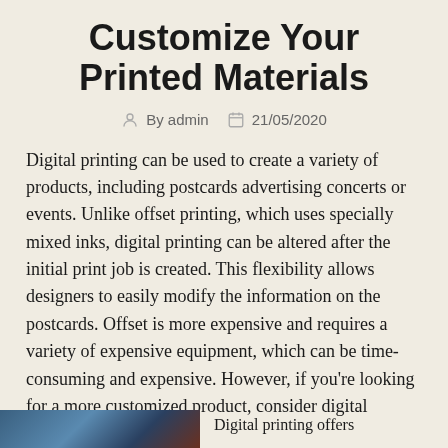Customize Your Printed Materials
By admin  21/05/2020
Digital printing can be used to create a variety of products, including postcards advertising concerts or events. Unlike offset printing, which uses specially mixed inks, digital printing can be altered after the initial print job is created. This flexibility allows designers to easily modify the information on the postcards. Offset is more expensive and requires a variety of expensive equipment, which can be time-consuming and expensive. However, if you're looking for a more customized product, consider digital printing.
[Figure (photo): Partial photo visible at bottom left of page]
Digital printing offers